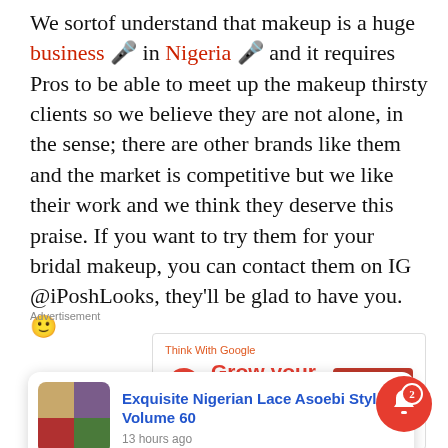We sortof understand that makeup is a huge business 🎤 in Nigeria 🎤 and it requires Pros to be able to meet up the makeup thirsty clients so we believe they are not alone, in the sense; there are other brands like them and the market is competitive but we like their work and we think they deserve this praise. If you want to try them for your bridal makeup, you can contact them on IG @iPoshLooks, they'll be glad to have you. 🙂
Advertisement
[Figure (screenshot): Google 'Think With Google – Grow your in-app' advertisement with Open button]
[Figure (screenshot): Notification card: Exquisite Nigerian Lace Asoebi Styles-Volume 60, 13 hours ago, with grid of fashion images]
[Figure (other): Red notification bell button with badge showing 2]